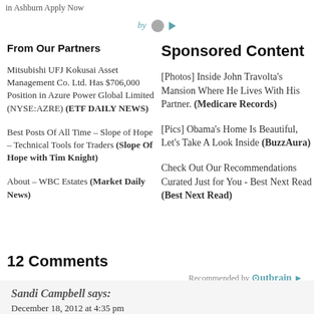in Ashburn Apply Now
by [outbrain icon] [play icon]
From Our Partners
Sponsored Content
Mitsubishi UFJ Kokusai Asset Management Co. Ltd. Has $706,000 Position in Azure Power Global Limited (NYSE:AZRE) (ETF DAILY NEWS)
Best Posts Of All Time – Slope of Hope – Technical Tools for Traders (Slope Of Hope with Tim Knight)
About – WBC Estates (Market Daily News)
[Photos] Inside John Travolta's Mansion Where He Lives With His Partner. (Medicare Records)
[Pics] Obama's Home Is Beautiful, Let's Take A Look Inside (BuzzAura)
Check Out Our Recommendations Curated Just for You - Best Next Read (Best Next Read)
Recommended by Outbrain
12 Comments
Sandi Campbell says:
December 18, 2012 at 4:35 pm